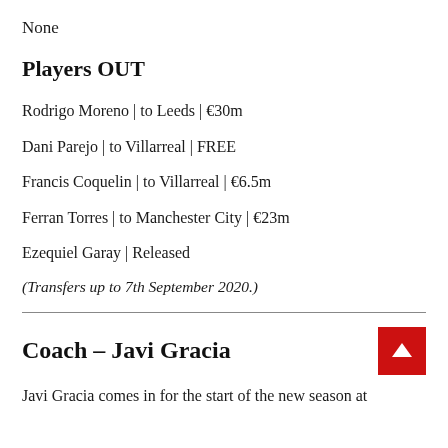None
Players OUT
Rodrigo Moreno | to Leeds | €30m
Dani Parejo | to Villarreal | FREE
Francis Coquelin | to Villarreal | €6.5m
Ferran Torres | to Manchester City | €23m
Ezequiel Garay | Released
(Transfers up to 7th September 2020.)
Coach – Javi Gracia
Javi Gracia comes in for the start of the new season at